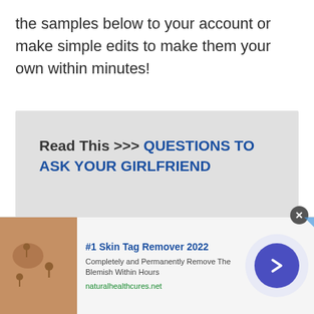the samples below to your account or make simple edits to make them your own within minutes!
[Figure (infographic): Gray box containing promotional text: Read This >>> QUESTIONS TO ASK YOUR GIRLFRIEND]
[Figure (infographic): Advertisement bar: #1 Skin Tag Remover 2022 - Completely and Permanently Remove The Blemish Within Hours - naturalhealthcures.net, with photo of skin tags and blue arrow button]